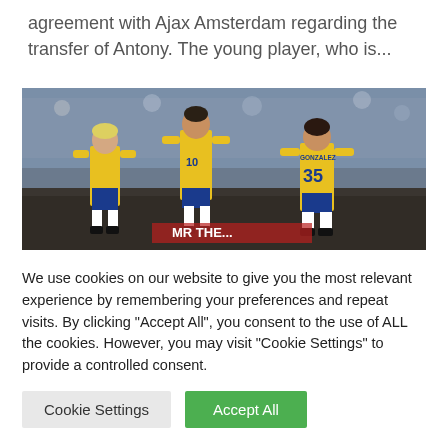agreement with Ajax Amsterdam regarding the transfer of Antony. The young player, who is...
[Figure (photo): Football players in yellow and blue kits on a pitch with a crowd in the background. One player has number 35 on his back.]
We use cookies on our website to give you the most relevant experience by remembering your preferences and repeat visits. By clicking "Accept All", you consent to the use of ALL the cookies. However, you may visit "Cookie Settings" to provide a controlled consent.
Cookie Settings
Accept All